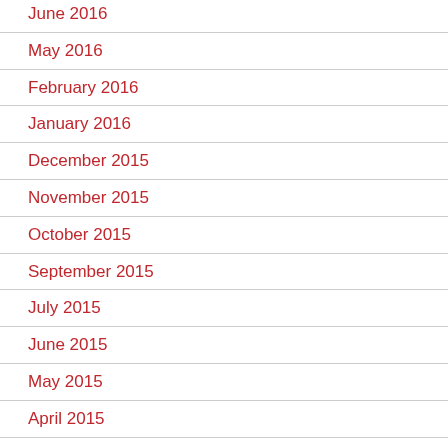June 2016
May 2016
February 2016
January 2016
December 2015
November 2015
October 2015
September 2015
July 2015
June 2015
May 2015
April 2015
March 2015